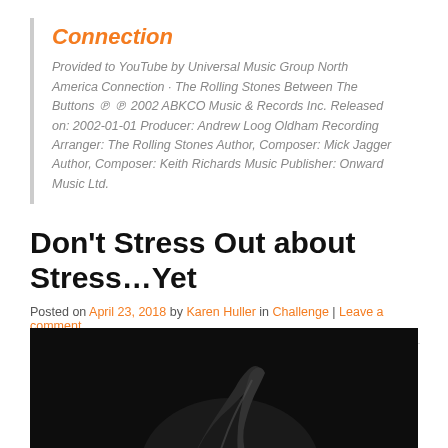Connection
Provided to YouTube by Universal Music Group North America Connection · The Rolling Stones Between The Buttons ℗ ℗ 2002 ABKCO Music & Records Inc. Released on: 2002-01-01 Producer: Andrew Loog Oldham Recording Arranger: The Rolling Stones Author, Composer: Mick Jagger Author, Composer: Keith Richards Music Publisher: Onward Music Ltd.
Don't Stress Out about Stress…Yet
Posted on April 23, 2018 by Karen Huller in Challenge | Leave a comment
[Figure (photo): Black and white photo showing a partial figure or hand against a dark background]